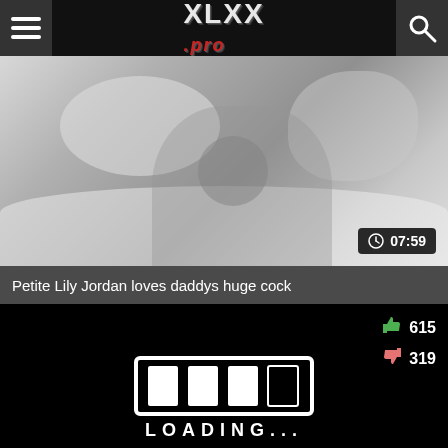XLXX.pro
[Figure (photo): Grayscale video thumbnail showing a person lying on a bed with pillows, with a duration badge showing 07:59]
Petite Lily Jordan loves daddys huge cock
[Figure (screenshot): Video player loading screen on black background with thumbs up (615) and thumbs down (319) vote counts, and a loading bar animation with text LOADING...]